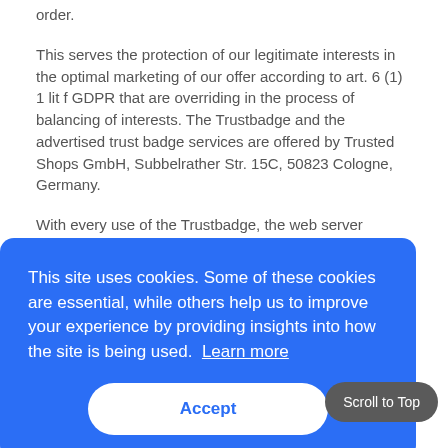order.
This serves the protection of our legitimate interests in the optimal marketing of our offer according to art. 6 (1) 1 lit f GDPR that are overriding in the process of balancing of interests. The Trustbadge and the advertised trust badge services are offered by Trusted Shops GmbH, Subbelrather Str. 15C, 50823 Cologne, Germany.
With every use of the Trustbadge, the web server automatically saves a so-called server log file which contains e.g. your IP address, the date and time of the request, the volume of data
[Figure (screenshot): Cookie consent banner overlay with blue background reading: 'This site uses cookies. Some of these cookies are essential, while others help us to improve your experience by providing insights into how the site is being used. Learn more' with an Accept button and a Scroll to Top button.]
https://www.trustedshops.co.uk/imprint/